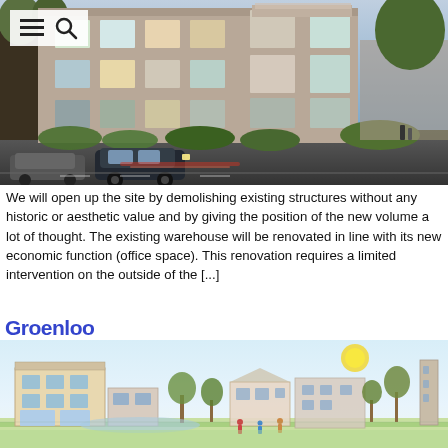[Figure (photo): Exterior rendering of a modern multi-storey residential brick apartment building at dusk, with cars passing in front on a road and landscaping visible.]
We will open up the site by demolishing existing structures without any historic or aesthetic value and by giving the position of the new volume a lot of thought. The existing warehouse will be renovated in line with its new economic function (office space). This renovation requires a limited intervention on the outside of the [...]
Groenloo
[Figure (illustration): Architectural concept sketch/illustration of a mixed residential neighbourhood with buildings, trees, green spaces, people walking, and a sun in the sky.]